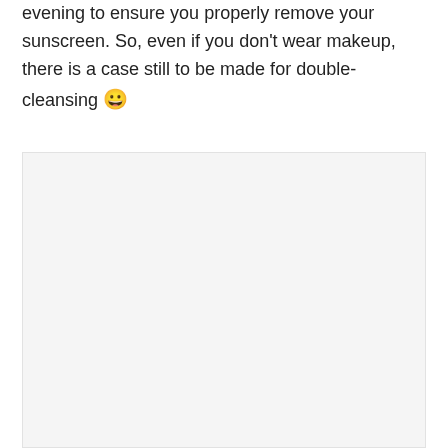Don't forget that you need to double cleanse in the evening to ensure you properly remove your sunscreen. So, even if you don't wear makeup, there is a case still to be made for double-cleansing 😀
[Figure (photo): A large light gray/off-white rectangular image placeholder area occupying the lower portion of the page.]